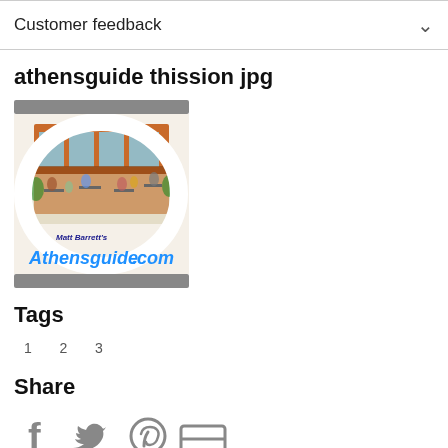Customer feedback
athensguide thission jpg
[Figure (photo): Athensguide.com logo image showing a restaurant/café outdoor scene with people dining, surrounded by gray bars above and below]
Tags
1  2  3
Share
[Figure (infographic): Social media sharing icons: Facebook, Twitter/bird, Pinterest/circle, and a link/chain icon]